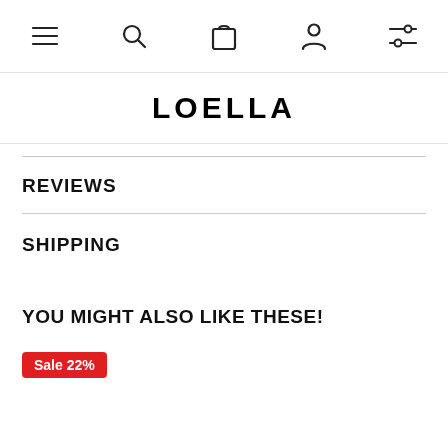Navigation bar with menu, search, cart, account, and filter icons
LOELLA
REVIEWS
SHIPPING
YOU MIGHT ALSO LIKE THESE!
Sale 22%